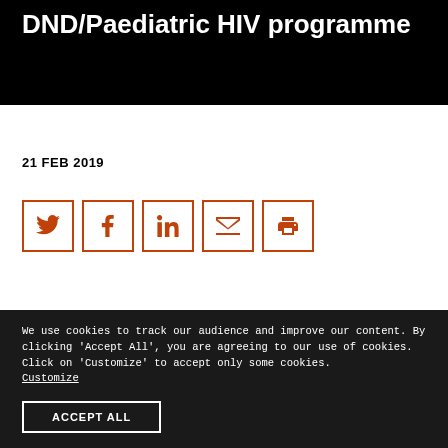DND/Paediatric HIV programme
21 FEB 2019
[Figure (other): Social share icons row: Twitter, Facebook, LinkedIn, Email, Print — each in an orange-bordered square button]
We use cookies to track our audience and improve our content. By clicking 'Accept All', you are agreeing to our use of cookies. Click on 'Customize' to accept only some cookies. Customize
ACCEPT ALL